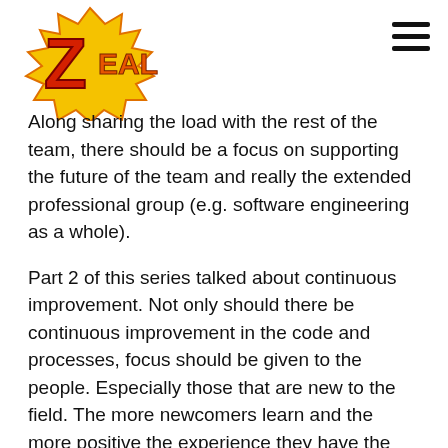[Figure (logo): ZEAL logo — comic-style orange and red burst with yellow letter Z and orange text EAL]
[Figure (other): Hamburger menu icon — three horizontal black lines stacked vertically in top right corner]
Along sharing the load with the rest of the team, there should be a focus on supporting the future of the team and really the extended professional group (e.g. software engineering as a whole).
Part 2 of this series talked about continuous improvement. Not only should there be continuous improvement in the code and processes, focus should be given to the people. Especially those that are new to the field. The more newcomers learn and the more positive the experience they have the more likely they are to stay not only with the company but also in the field.
But staying isn't always the best option. Sometimes leaving